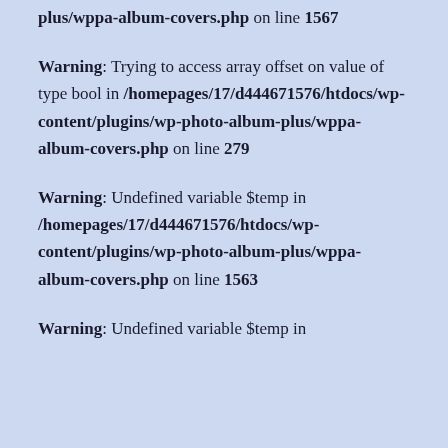plus/wppa-album-covers.php on line 1567
Warning: Trying to access array offset on value of type bool in /homepages/17/d444671576/htdocs/wp-content/plugins/wp-photo-album-plus/wppa-album-covers.php on line 279
Warning: Undefined variable $temp in /homepages/17/d444671576/htdocs/wp-content/plugins/wp-photo-album-plus/wppa-album-covers.php on line 1563
Warning: Undefined variable $temp in